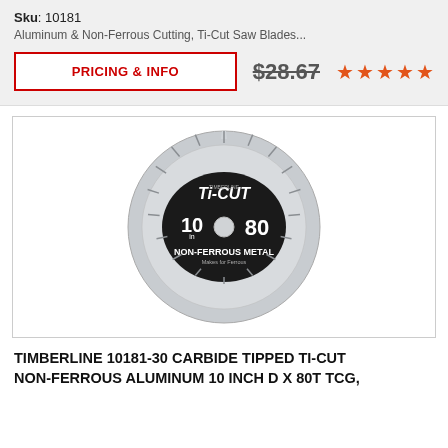Sku: 10181
Aluminum & Non-Ferrous Cutting, Ti-Cut Saw Blades...
PRICING & INFO
$28.67
[Figure (photo): Circular saw blade - Timberline Ti-Cut 10 inch 80 tooth Non-Ferrous Metal blade]
TIMBERLINE 10181-30 CARBIDE TIPPED TI-CUT NON-FERROUS ALUMINUM 10 INCH D X 80T TCG,